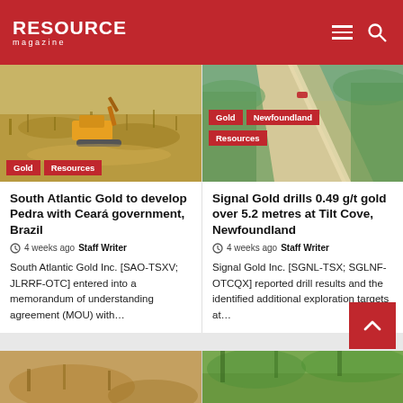RESOURCE magazine
[Figure (photo): Aerial view of excavator machinery in dry scrubland field, Brazil mining site]
[Figure (photo): Aerial view of winding road through green and sandy terrain, Newfoundland]
South Atlantic Gold to develop Pedra with Ceará government, Brazil
4 weeks ago  Staff Writer
South Atlantic Gold Inc. [SAO-TSXV; JLRRF-OTC] entered into a memorandum of understanding agreement (MOU) with…
Signal Gold drills 0.49 g/t gold over 5.2 metres at Tilt Cove, Newfoundland
4 weeks ago  Staff Writer
Signal Gold Inc. [SGNL-TSX; SGLNF-OTCQX] reported drill results and the identified additional exploration targets at…
[Figure (photo): Partial bottom-left image, mining/geological scene]
[Figure (photo): Partial bottom-right image, forested/natural scene]